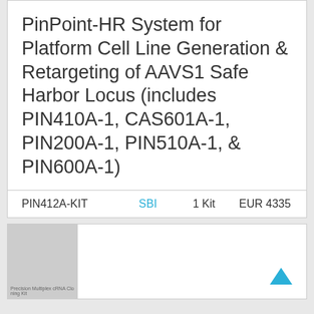PinPoint-HR System for Platform Cell Line Generation & Retargeting of AAVS1 Safe Harbor Locus (includes PIN410A-1, CAS601A-1, PIN200A-1, PIN510A-1, & PIN600A-1)
| PIN412A-KIT | SBI | 1 Kit | EUR 4335 |
[Figure (other): Partial view of a product image thumbnail with label text 'Precision Multiplex CRNA Cloning Kit' partially visible at bottom]